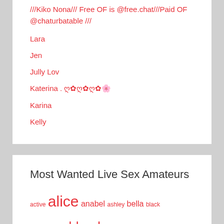///Kiko Nona/// Free OF is @free.chat///Paid OF @chaturbatable ///
Lara
Jen
Jully Lov
Katerina . ღ✿ღ✿ღ✿🌸
Karina
Kelly
Most Wanted Live Sex Amateurs
active alice anabel ashley bella black blackhand blond blonde boobs brunette caitlin camilla candy chaturbate